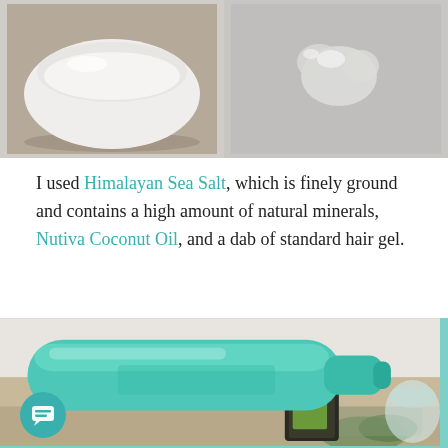[Figure (photo): Two side-by-side photos: left shows a white bowl with white powder (Himalayan Sea Salt), right shows a clear gel/substance on a gray surface (coconut oil)]
I used Himalayan Sea Salt, which is finely ground and contains a high amount of natural minerals, Nutiva Coconut Oil, and a dab of standard hair gel.
[Figure (photo): A teal/green translucent plastic bottle lying on its side on a counter, with herbs and other ingredients visible underneath]